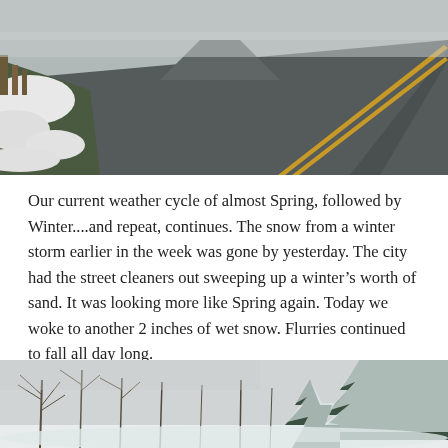[Figure (photo): A wet asphalt road receding into the distance with double yellow center lines and patches of snow/slush along the left roadside. Overcast grey sky visible ahead.]
Our current weather cycle of almost Spring, followed by Winter....and repeat, continues. The snow from a winter storm earlier in the week was gone by yesterday. The city had the street cleaners out sweeping up a winter’s worth of sand. It was looking more like Spring again. Today we woke to another 2 inches of wet snow. Flurries continued to fall all day long.
[Figure (photo): A winter forest scene with bare deciduous trees and snow-covered evergreen trees on the right side. Snow covers the ground and everything appears white and grey under overcast skies.]